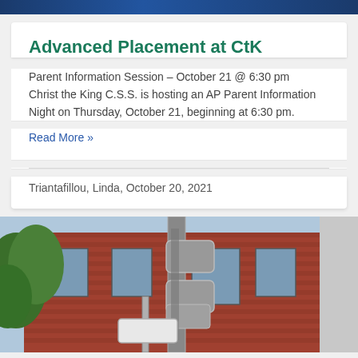Advanced Placement at CtK
Parent Information Session – October 21 @ 6:30 pm Christ the King C.S.S. is hosting an AP Parent Information Night on Thursday, October 21, beginning at 6:30 pm.
Read More »
Triantafillou, Linda, October 20, 2021
[Figure (photo): Exterior photo of a brick school building with a metal utility pipe/duct on the facade, a street sign pole in the foreground, and some green foliage visible on the left side.]